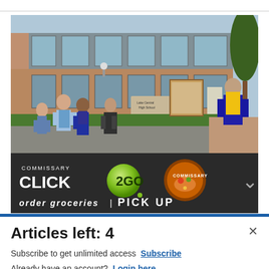[Figure (photo): Students walking outside a brick high school building, carrying backpacks, on a sunny day. Sign on the building reads 'Lake Central High School'. Trees visible on right side.]
[Figure (screenshot): Advertisement banner for Commissary Click2GO service. Dark background with green circle logo showing '2GO', Commissary badge logo on right, text 'order groceries' and 'PICK UP' partially visible.]
Articles left: 4
Subscribe to get unlimited access  Subscribe
Already have an account?  Login here